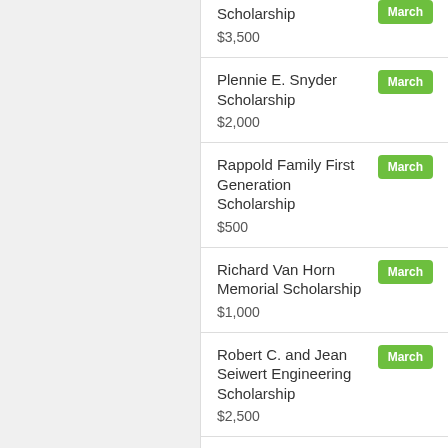Scholarship $3,500 March
Plennie E. Snyder Scholarship $2,000 March
Rappold Family First Generation Scholarship $500 March
Richard Van Horn Memorial Scholarship $1,000 March
Robert C. and Jean Seiwert Engineering Scholarship $2,500 March